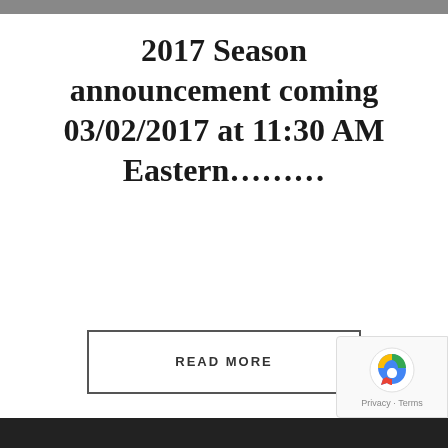[Figure (photo): Top image strip showing partial photos]
2017 Season announcement coming 03/02/2017 at 11:30 AM Eastern………
READ MORE
1  2